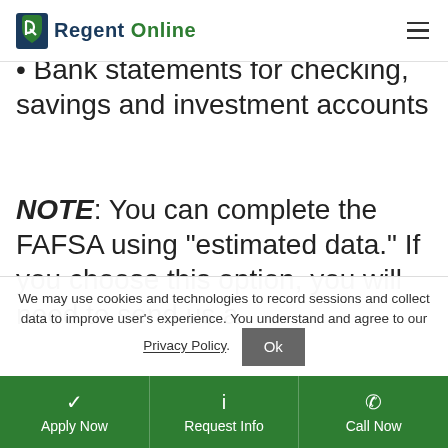Regent Online
dependent)
Bank statements for checking, savings and investment accounts
NOTE: You can complete the FAFSA using “estimated data.” If you choose this option, you will need to send us a
We may use cookies and technologies to record sessions and collect data to improve user's experience. You understand and agree to our Privacy Policy.
Apply Now | Request Info | Call Now